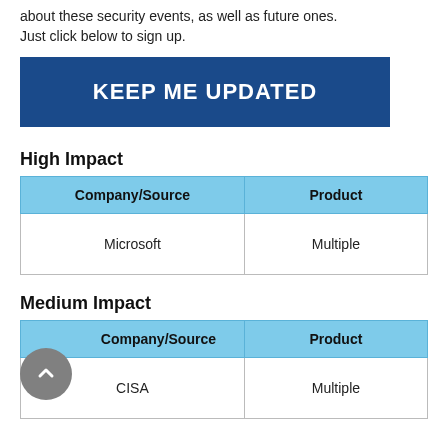about these security events, as well as future ones. Just click below to sign up.
KEEP ME UPDATED
High Impact
| Company/Source | Product |
| --- | --- |
| Microsoft | Multiple |
Medium Impact
| Company/Source | Product |
| --- | --- |
| CISA | Multiple |